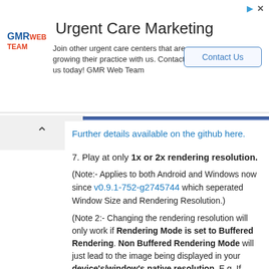[Figure (screenshot): Advertisement banner for GMR Web Team / Urgent Care Marketing with logo, headline, body text, and Contact Us button]
Further details available on the github here.
7. Play at only 1x or 2x rendering resolution.
(Note:- Applies to both Android and Windows now since v0.9.1-752-g2745744 which seperated Window Size and Rendering Resolution.)
(Note 2:- Changing the rendering resolution will only work if Rendering Mode is set to Buffered Rendering. Non Buffered Rendering Mode will just lead to the image being displayed in your device's/window's native resolution. E.g. If your device can output 1080p, and you set it to Non-Buffered Rendering, the game will render in 1080p no matter the rendering resolution set in the options. You'll have to set it back to Buffered Rendering, and then, change the Rendering Resolution to whatever you desire.)